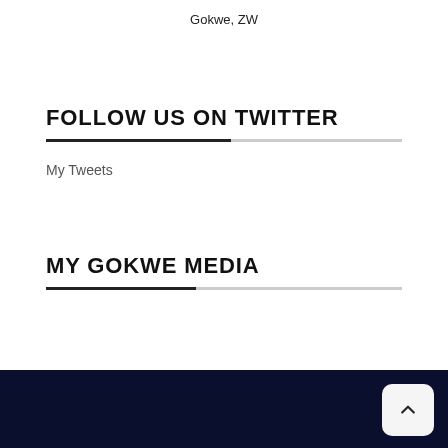Gokwe, ZW
FOLLOW US ON TWITTER
My Tweets
MY GOKWE MEDIA